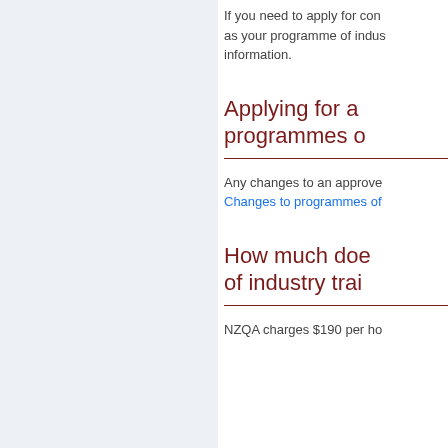If you need to apply for con as your programme of indus information.
Applying for a programmes o
Any changes to an approve Changes to programmes of
How much doe of industry trai
NZQA charges $190 per ho